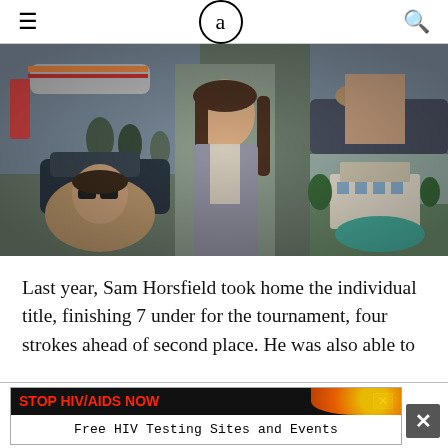≡   a   🔍
[Figure (photo): A collage of celebrity lifestyle photos: a woman in sunglasses near a private jet, a woman in a grey dress posing, a woman getting out of a luxury car, and a mansion with a pool.]
Last year, Sam Horsfield took home the individual title, finishing 7 under for the tournament, four strokes ahead of second place. He was also able to
[Figure (infographic): Advertisement banner: 'STOP HIV/AIDS NOW' in red bold text on dark background, with 'Free HIV Testing Sites and Events' below, and a close button.]